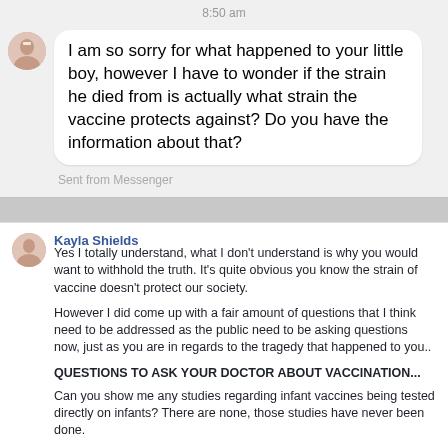8:50 am
I am so sorry for what happened to your little boy, however I have to wonder if the strain he died from is actually what strain the vaccine protects against? Do you have the information about that?
Sent from Messenger
Kayla Shields
Yes I totally understand, what I don’t understand is why you would want to withhold the truth. It’s quite obvious you know the strain of vaccine doesn’t protect our society.

However I did come up with a fair amount of questions that I think need to be addressed as the public need to be asking questions now, just as you are in regards to the tragedy that happened to you..

QUESTIONS TO ASK YOUR DOCTOR ABOUT VACCINATION...

Can you show me any studies regarding infant vaccines being tested directly on infants? There are none, those studies have never been done.

Can you show me any studies which prove that the vaccines recommended for pregnant women, have been tested on pregnant women? There are none, those studies have never been done.